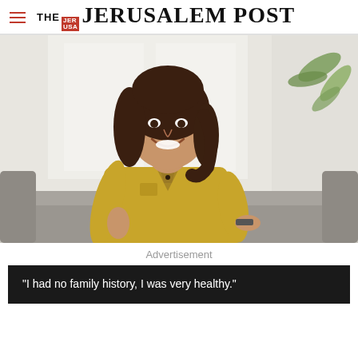THE JERUSALEM POST
[Figure (photo): Young woman with dark hair, wearing a yellow shirt, sitting on a grey sofa and smiling, with blurred curtains and a plant in the background]
Advertisement
"I had no family history, I was very healthy."